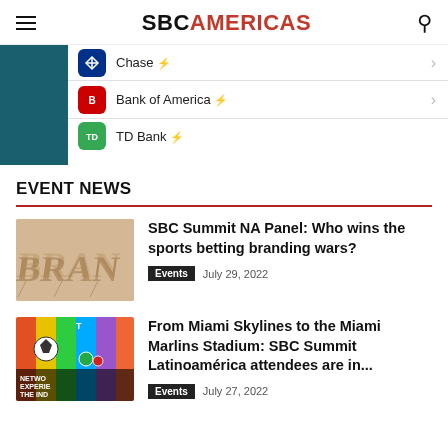SBCAMERICAS
[Figure (screenshot): Mobile banking app screenshot showing a list of banks: Chase (with lightning bolt icon), Bank of America (with lightning bolt icon), and TD Bank (with lightning bolt icon), each with a right chevron arrow.]
EVENT NEWS
[Figure (photo): Photo showing the word BRAND in 3D letters casting shadows on a sandy/beige surface.]
SBC Summit NA Panel: Who wins the sports betting branding wars?
Events  July 29, 2022
[Figure (photo): Photo showing a colorful graphic with soccer ball, poker chips, rainbow stripes, and text: NETWO EXPERIE THE IND]
From Miami Skylines to the Miami Marlins Stadium: SBC Summit Latinoamérica attendees are in...
Events  July 27, 2022